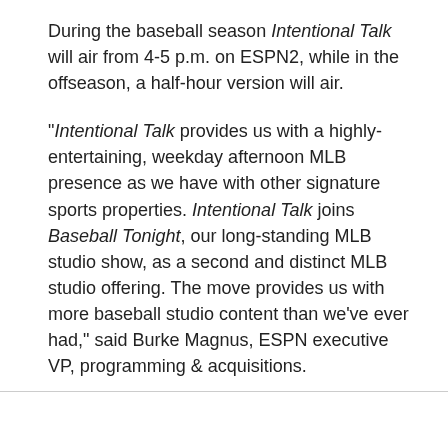During the baseball season Intentional Talk will air from 4-5 p.m. on ESPN2, while in the offseason, a half-hour version will air.
"Intentional Talk provides us with a highly-entertaining, weekday afternoon MLB presence as we have with other signature sports properties. Intentional Talk joins Baseball Tonight, our long-standing MLB studio show, as a second and distinct MLB studio offering. The move provides us with more baseball studio content than we've ever had," said Burke Magnus, ESPN executive VP, programming & acquisitions.